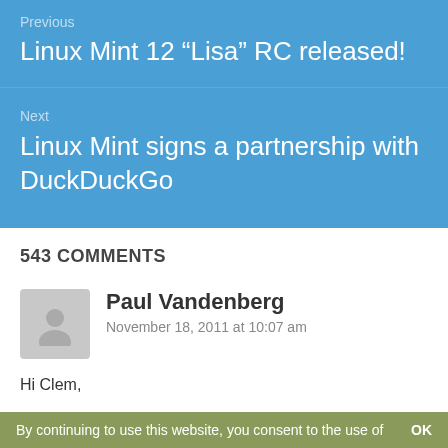Previous
Linux Mint 12 “Lisa” RC released!
Next
Linux Mint signs a partnership with DuckDuckGo
543 COMMENTS
Paul Vandenberg
November 18, 2011 at 10:07 am
Hi Clem,
Thanks for all the hard work on this release. I also
By continuing to use this website, you consent to the use of    OK